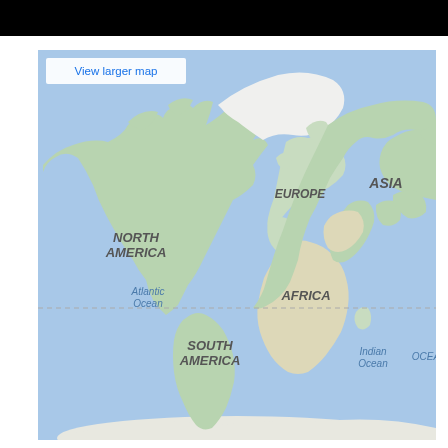[Figure (map): Google Maps world map showing continents: North America, South America, Europe, Africa, Asia, with ocean labels: Atlantic Ocean, Indian Ocean, OCEA (partially visible). A dashed horizontal line runs across the map. A 'View larger map' link appears in the top-left of the map. The map uses a standard Google Maps style with blue oceans and green/beige landmasses.]